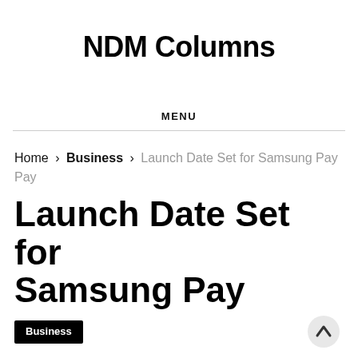NDM Columns
MENU
Home > Business > Launch Date Set for Samsung Pay
Launch Date Set for Samsung Pay
Business